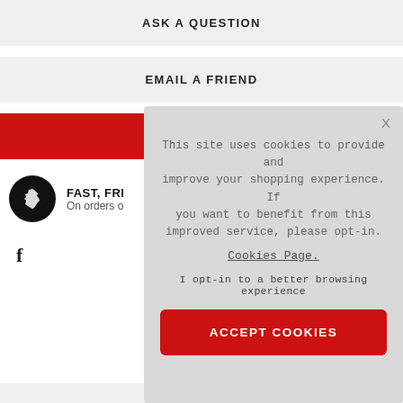ASK A QUESTION
EMAIL A FRIEND
PRICE MATCH
FAST, FRI...
On orders o...
f
[Figure (screenshot): Cookie consent overlay popup with text: This site uses cookies to provide and improve your shopping experience. If you want to benefit from this improved service, please opt-in. Cookies Page. I opt-in to a better browsing experience. ACCEPT COOKIES button.]
This site uses cookies to provide and improve your shopping experience. If you want to benefit from this improved service, please opt-in.
Cookies Page.
I opt-in to a better browsing experience
ACCEPT COOKIES